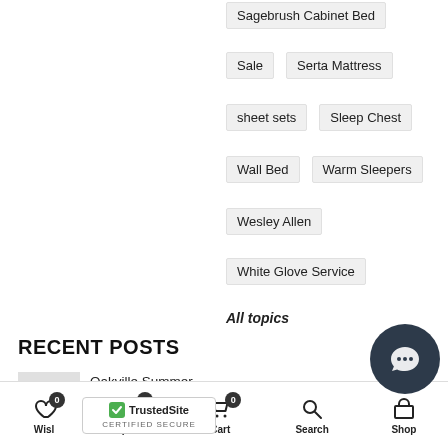Sagebrush Cabinet Bed
Sale
Serta Mattress
sheet sets
Sleep Chest
Wall Bed
Warm Sleepers
Wesley Allen
White Glove Service
All topics
RECENT POSTS
Oakville Summer Clearance
Wishlist 0 | Compare 0 | Cart 0 | Search | Shop